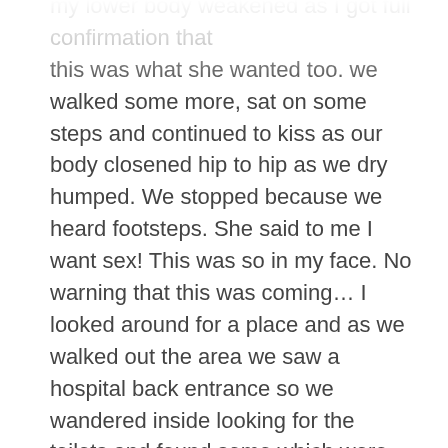my lower body weakened as I got full confirmation that this was what she wanted too. we walked some more, sat on some steps and continued to kiss as our body closened hip to hip as we dry humped. We stopped because we heard footsteps. She said to me I want sex! This was so in my face. No warning that this was coming… I looked around for a place and as we walked out the area we saw a hospital back entrance so we wandered inside looking for the toilets and found some which were for disabled people meaning it were private with a personal lock so we sneaked inside. We violently kissed some more sloppily and wet kisses smearing all over each other's face hungrily excited canlı bahis as she sat me down and lowered herself to the zip area of my trousers. She unzipped me and pulled out my 8 and a half inch penis. She placed it into her warm wet smelly mouth. My eyes rolled back as I felt her hot breath and warm wet